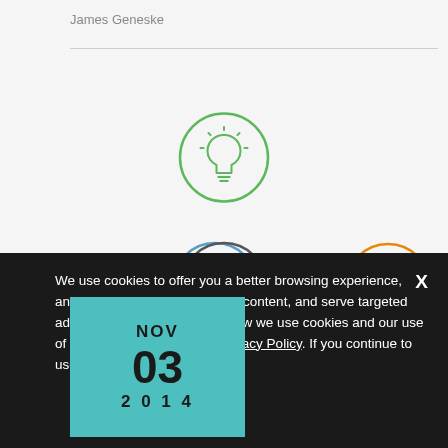James Geneske
[Figure (infographic): Infographic with icons: lightbulb (green circle, top center), people/group (blue circle, lower left), mountain/problems (dark gray circle, lower center), sun/goals (orange circle, lower right), window/dashboard icon (white circle, lower right area). Date badge: NOV 03 2014 in teal. Partial 'Call to' text with purple icon at bottom.]
We use cookies to offer you a better browsing experience, analyze site traffic, personalize content, and serve targeted advertisements. Read about how we use cookies and our use of data by reading our new Privacy Policy. If you continue to use this site, you